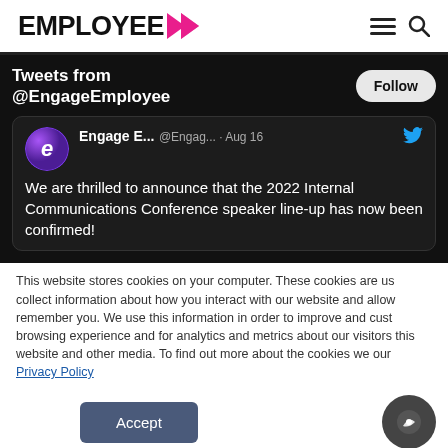EMPLOYEE >
[Figure (screenshot): Twitter widget showing tweets from @EngageEmployee with a Follow button and a tweet card: 'We are thrilled to announce that the 2022 Internal Communications Conference speaker line-up has now been confirmed!' by Engage E... @Engag... Aug 16]
This website stores cookies on your computer. These cookies are us collect information about how you interact with our website and allow remember you. We use this information in order to improve and cust browsing experience and for analytics and metrics about our visitors this website and other media. To find out more about the cookies we our Privacy Policy
Accept